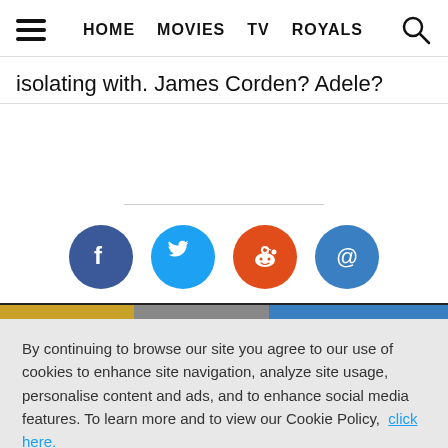HOME MOVIES TV ROYALS
isolating with. James Corden? Adele?
[Figure (infographic): Social share icons: Facebook (dark blue circle with f), Twitter (light blue circle with bird), Reddit (orange circle with alien logo), Email (blue circle with @ symbol)]
By continuing to browse our site you agree to our use of cookies to enhance site navigation, analyze site usage, personalise content and ads, and to enhance social media features. To learn more and to view our Cookie Policy, click here.
Got it!